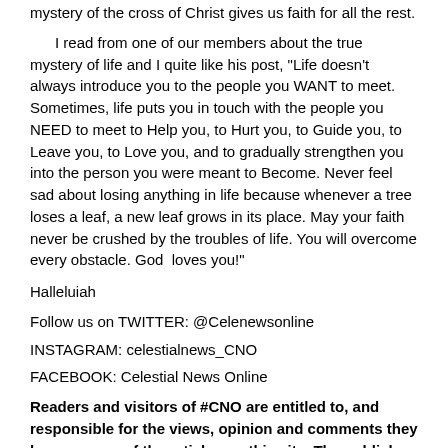mystery of the cross of Christ gives us faith for all the rest.
I read from one of our members about the true mystery of life and I quite like his post, "Life doesn't always introduce you to the people you WANT to meet. Sometimes, life puts you in touch with the people you NEED to meet to Help you, to Hurt you, to Guide you, to Leave you, to Love you, and to gradually strengthen you into the person you were meant to Become. Never feel sad about losing anything in life because whenever a tree loses a leaf, a new leaf grows in its place. May your faith never be crushed by the troubles of life. You will overcome every obstacle. God loves you!"
Halleluiah
Follow us on TWITTER: @Celenewsonline
INSTAGRAM: celestialnews_CNO
FACEBOOK: Celestial News Online
Readers and visitors of #CNO are entitled to, and responsible for the views, opinion and comments they leave on any of the articles on this site. The publisher and Editors of #CNO will therefore take no responsibility for the comments and any other such expression of any reader. Thanking you all for your